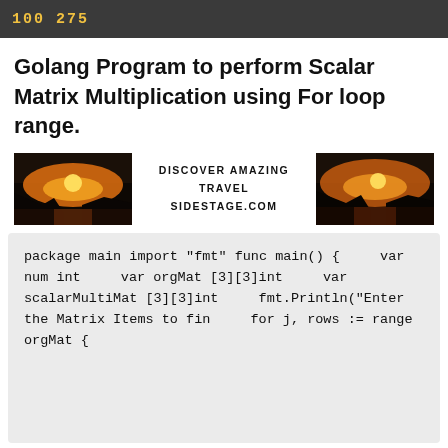100 275
Golang Program to perform Scalar Matrix Multiplication using For loop range.
[Figure (illustration): Advertisement banner for sidestage.com showing two sunset/travel photos flanking centered text 'DISCOVER AMAZING TRAVEL SIDESTAGE.COM']
package main

import "fmt"

func main() {

    var num int
    var orgMat [3][3]int
    var scalarMultiMat [3][3]int

    fmt.Println("Enter the Matrix Items to fin
    for j, rows := range orgMat {